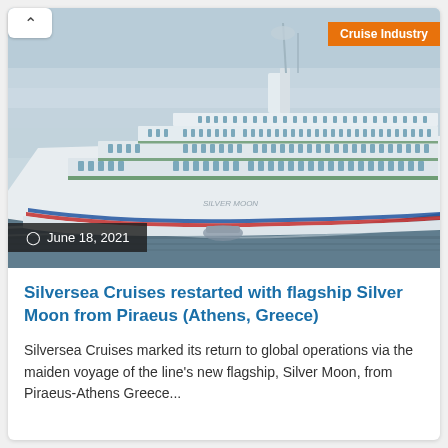[Figure (photo): A large white cruise ship (Silver Moon) sailing on blue-grey water. The ship has multiple decks with rows of windows and balconies, and a blue and red stripe along the hull near the waterline. The sky is overcast and grey.]
Cruise Industry
June 18, 2021
Silversea Cruises restarted with flagship Silver Moon from Piraeus (Athens, Greece)
Silversea Cruises marked its return to global operations via the maiden voyage of the line's new flagship, Silver Moon, from Piraeus-Athens Greece...